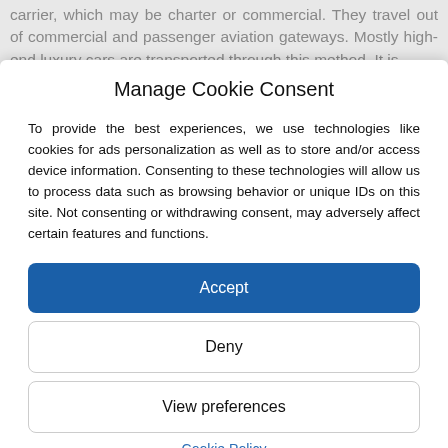carrier, which may be charter or commercial. They travel out of commercial and passenger aviation gateways. Mostly high-end luxury cars are transported through this method. It is
Manage Cookie Consent
To provide the best experiences, we use technologies like cookies for ads personalization as well as to store and/or access device information. Consenting to these technologies will allow us to process data such as browsing behavior or unique IDs on this site. Not consenting or withdrawing consent, may adversely affect certain features and functions.
Accept
Deny
View preferences
Cookie Policy